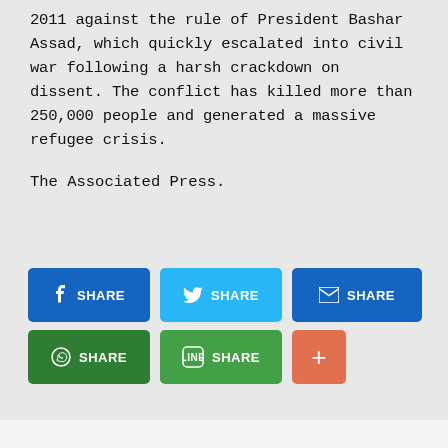2011 against the rule of President Bashar Assad, which quickly escalated into civil war following a harsh crackdown on dissent. The conflict has killed more than 250,000 people and generated a massive refugee crisis.
The Associated Press.
[Figure (other): Social media share buttons: Facebook Share, Twitter Share, Email Share (blue), WhatsApp Share, Line Share, and a plus button (orange-red)]